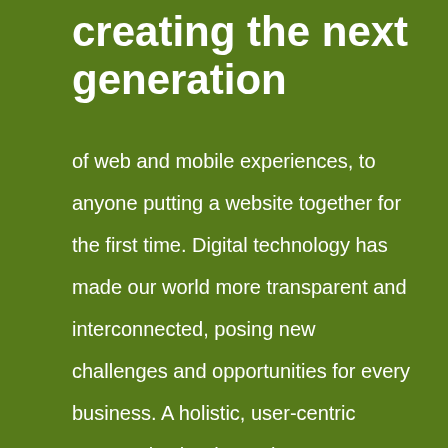creating the next generation
of web and mobile experiences, to anyone putting a website together for the first time. Digital technology has made our world more transparent and interconnected, posing new challenges and opportunities for every business. A holistic, user-centric perspective is what truly sets one apart. Successful products and services do not exist in a void, but are seamlessly immersed in a person's life.